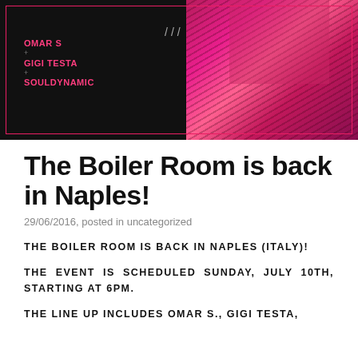[Figure (photo): Event promotional banner for Boiler Room Naples showing dark background with pink/magenta abstract imagery and text listing Omar S, Gigi Testa, Souldynamic with decorative border]
The Boiler Room is back in Naples!
29/06/2016, posted in uncategorized
THE BOILER ROOM IS BACK IN NAPLES (ITALY)!
THE EVENT IS SCHEDULED SUNDAY, JULY 10TH, STARTING AT 6PM.
THE LINE UP INCLUDES OMAR S., GIGI TESTA,